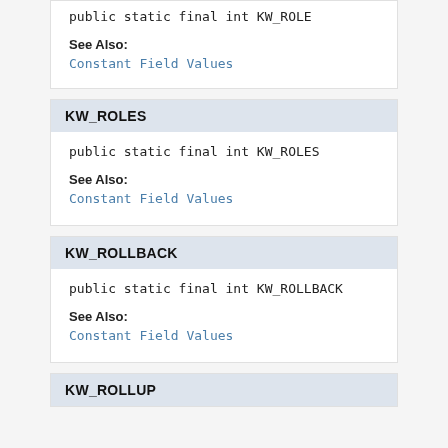public static final int KW_ROLE
See Also:
Constant Field Values
KW_ROLES
public static final int KW_ROLES
See Also:
Constant Field Values
KW_ROLLBACK
public static final int KW_ROLLBACK
See Also:
Constant Field Values
KW_ROLLUP